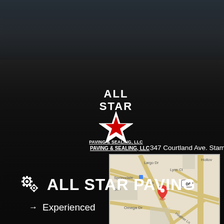[Figure (photo): Dark background with building silhouette and asphalt road texture]
[Figure (logo): All Star Paving & Sealing LLC logo — white star outline with red star inside, text ALL STAR above PAVING & SEALING, LLC below]
347 Courtland Ave. Stamford, CT
[Figure (map): Google Maps screenshot showing Springdale area, Stamford CT with red location pin near Cortland Ave, showing roads Largo Dr, Omega Dr, Heathway Ln, Lynn Ct, route 106]
ALL STAR PAVING
Experienced